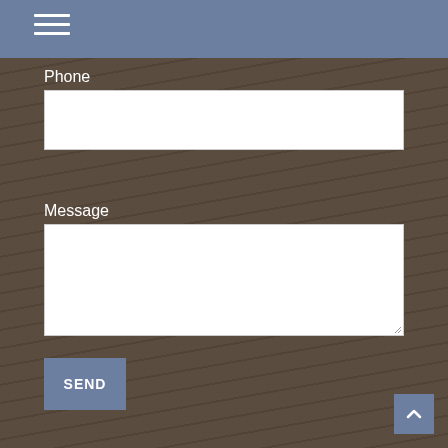[Figure (screenshot): Website contact form screenshot. Steel-blue header bar at top with hamburger menu icon. Dark-overlay wooden deck background photo behind the form. Form fields: Phone label with white text input box, Message label with white textarea. Blue SEND button at bottom left. Back-to-top chevron button at bottom right.]
Phone
Message
SEND